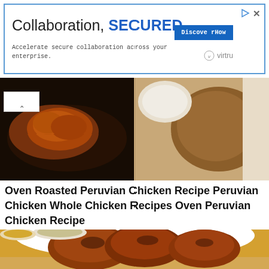[Figure (other): Advertisement banner with blue border. Text reads 'Collaboration, SECURED.' with a 'Discover How' blue button and Virtru logo. Icons for play and close in top right.]
[Figure (photo): Two side-by-side food photos: left shows oven-roasted Peruvian chicken on a dark pan, right shows chicken on a wooden cutting board.]
Oven Roasted Peruvian Chicken Recipe Peruvian Chicken Whole Chicken Recipes Oven Peruvian Chicken Recipe
[Figure (photo): Close-up photo of roasted Peruvian chicken pieces on a white plate, with small bowls of spices in background on wooden table.]